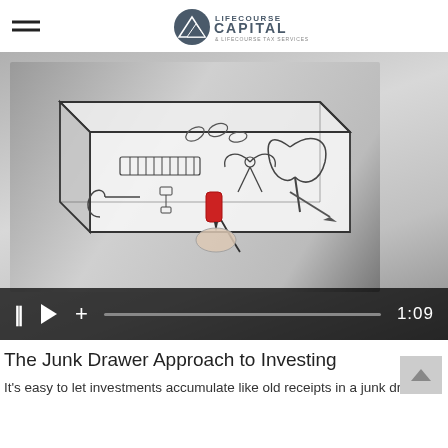LIFECOURSE CAPITAL & LIFECOURSE TAX SERVICES
[Figure (screenshot): Video screenshot showing a whiteboard animation of a junk drawer filled with kitchen tools being drawn by a hand holding a red marker. Video controls show pause, play, plus icons and a progress bar with timestamp 1:09.]
The Junk Drawer Approach to Investing
It's easy to let investments accumulate like old receipts in a junk drawer.